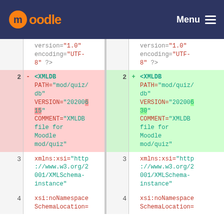moodle   Menu
| line_left | marker_left | code_left | line_right | marker_right | code_right |
| --- | --- | --- | --- | --- | --- |
|  |  | version="1.0" encoding="UTF-8" ?> |  |  | version="1.0" encoding="UTF-8" ?> |
| 2 | - | <XMLDB PATH="mod/quiz/db" VERSION="20200615" COMMENT="XMLDB file for Moodle mod/quiz" | 2 | + | <XMLDB PATH="mod/quiz/db" VERSION="20200630" COMMENT="XMLDB file for Moodle mod/quiz" |
| 3 |  | xmlns:xsi="http://www.w3.org/2001/XMLSchema-instance" | 3 |  | xmlns:xsi="http://www.w3.org/2001/XMLSchema-instance" |
| 4 |  | xsi:noNamespaceSchemaLocation= | 4 |  | xsi:noNamespaceSchemaLocation= |